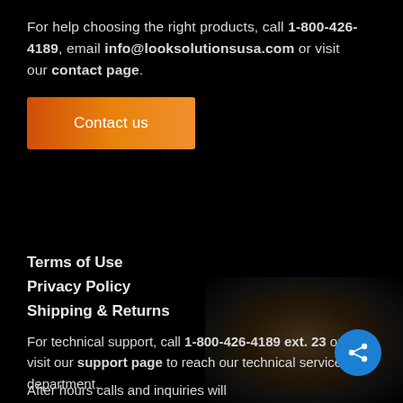For help choosing the right products, call 1-800-426-4189, email info@looksolutionsusa.com or visit our contact page.
[Figure (other): Orange gradient 'Contact us' button]
Terms of Use
Privacy Policy
Shipping & Returns
For technical support, call 1-800-426-4189 ext. 23 or visit our support page to reach our technical services department.
After hours calls and inquiries will
[Figure (photo): Dark brown background photo in bottom right corner with a blue share button overlay]